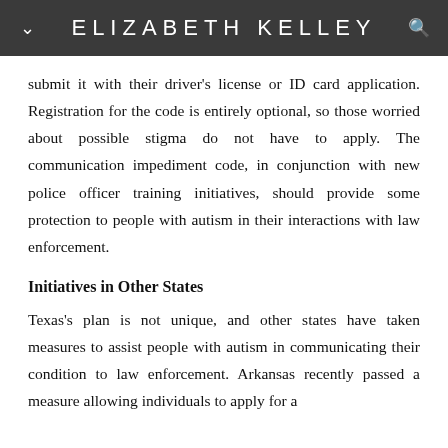ELIZABETH KELLEY
submit it with their driver's license or ID card application. Registration for the code is entirely optional, so those worried about possible stigma do not have to apply. The communication impediment code, in conjunction with new police officer training initiatives, should provide some protection to people with autism in their interactions with law enforcement.
Initiatives in Other States
Texas's plan is not unique, and other states have taken measures to assist people with autism in communicating their condition to law enforcement. Arkansas recently passed a measure allowing individuals to apply for a